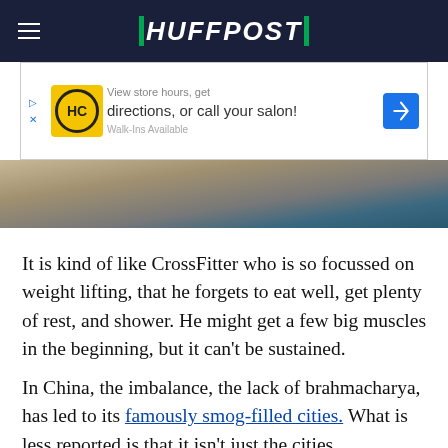HUFFPOST
[Figure (screenshot): Advertisement banner for HC salon with yellow logo, text 'View store hours, get directions, or call your salon!' and blue navigation arrow]
[Figure (photo): Partial photo strip showing outdoor ground/dirt scene with blue structure on right edge]
It is kind of like CrossFitter who is so focussed on weight lifting, that he forgets to eat well, get plenty of rest, and shower. He might get a few big muscles in the beginning, but it can't be sustained.
In China, the imbalance, the lack of brahmacharya, has led to its famously smog-filled cities. What is less reported is that it isn't just the cities. Everywhere we have gone has suffered from a sky dark with smog,